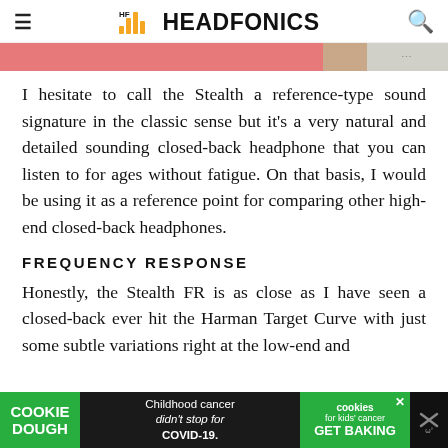HEADFONICS
[Figure (photo): Partial image strip showing pink/salmon color band and a partial photo]
I hesitate to call the Stealth a reference-type sound signature in the classic sense but it's a very natural and detailed sounding closed-back headphone that you can listen to for ages without fatigue. On that basis, I would be using it as a reference point for comparing other high-end closed-back headphones.
FREQUENCY RESPONSE
Honestly, the Stealth FR is as close as I have seen a closed-back ever hit the Harman Target Curve with just some subtle variations right at the low-end and in
[Figure (screenshot): Cookie Dough advertisement banner at the bottom of the page: 'Childhood cancer didn't stop for COVID-19. cookies for kids cancer GET BAKING']